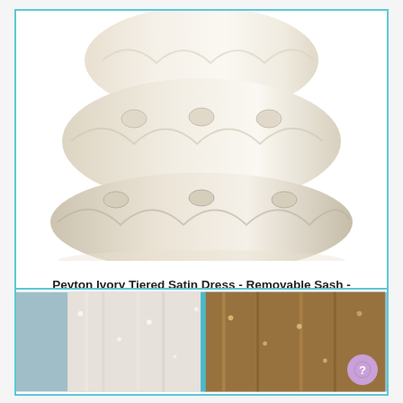[Figure (photo): Bottom portion of a white/ivory tiered satin ruffle dress on a white background]
Peyton Ivory Tiered Satin Dress - Removable Sash -
Price: $99.99 $49.99
In-Stock Sizes: 10, 12
Online Only!
[Figure (other): Star rating: 5 stars (1 review)]
[Figure (photo): Partial photo showing curtains or fabric panels in white and brown/tan colors]